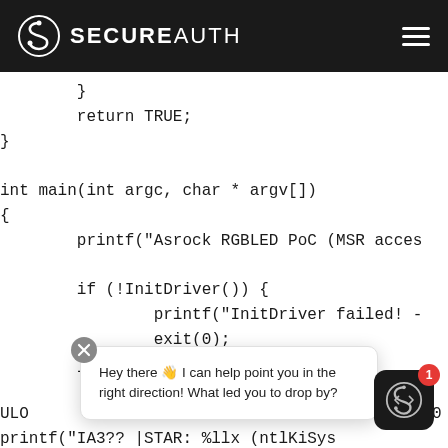SECUREAUTH
}
        return TRUE;
}

int main(int argc, char * argv[])
{
        printf("Asrock RGBLED PoC (MSR acces

        if (!InitDriver()) {
                printf("InitDriver failed! -
                exit(0);
        }

ULO                                          J0
printf("IA3?? |STAR: %llx (ntlKiSys
Hey there 👋 I can help point you in the right direction! What led you to drop by?